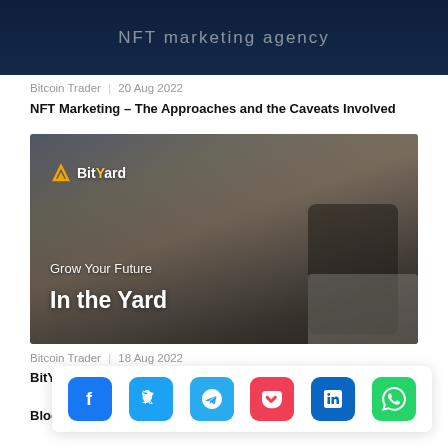[Figure (photo): Dark navy blue background with partially visible white text reading 'NFT marketing agency']
Bitcoin Trader   20 Aug 2022
NFT Marketing – The Approaches and the Caveats Involved
[Figure (photo): BitYard advertisement banner showing a man in a suit holding a smartphone. Logo reads 'BitYard'. Text: 'Grow Your Future / In the Yard']
Bitcoin Trader   18 Aug 2022
BitYard –
Blockchain Traders
[Figure (infographic): Social sharing bar with icons: Facebook, Twitter, Telegram, Pocket, LinkedIn, WhatsApp]